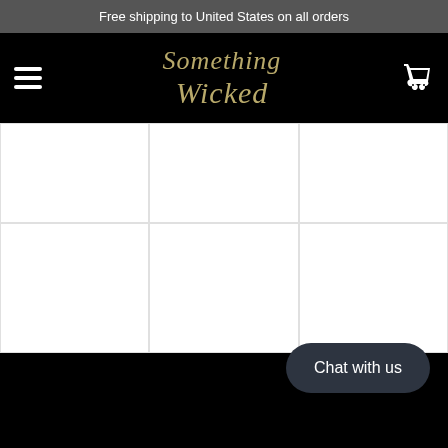Free shipping to United States on all orders
[Figure (logo): Something Wicked logo in gold italic script on black background with hamburger menu icon on left and shopping cart icon on right]
[Figure (other): 3x2 grid of white product image placeholder cells]
Chat with us